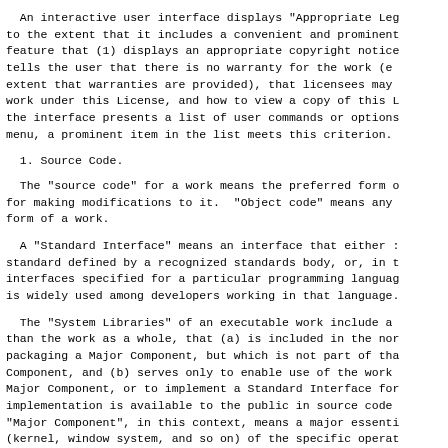An interactive user interface displays "Appropriate Legal Notices" to the extent that it includes a convenient and prominent feature that (1) displays an appropriate copyright notice, tells the user that there is no warranty for the work (except to the extent that warranties are provided), that licensees may convey the work under this License, and how to view a copy of this License. If the interface presents a list of user commands or options, such as a menu, a prominent item in the list meets this criterion.
1. Source Code.
The "source code" for a work means the preferred form of the work for making modifications to it. "Object code" means any non-source form of a work.
A "Standard Interface" means an interface that either is an official standard defined by a recognized standards body, or, in the case of interfaces specified for a particular programming language, one that is widely used among developers working in that language.
The "System Libraries" of an executable work include anything, other than the work as a whole, that (a) is included in the normal form of packaging a Major Component, but which is not part of that Major Component, and (b) serves only to enable use of the work with that Major Component, or to implement a Standard Interface for which an implementation is available to the public in source code form. A "Major Component", in this context, means a major essential component (kernel, window system, and so on) of the specific operating system (if any) on which the executable work runs, or a compiler used to produce the work, or an object code interpreter used to run it.